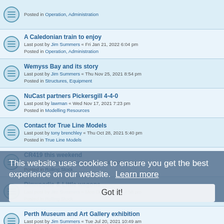Posted in Operation, Administration
A Caledonian train to enjoy
Last post by Jim Summers « Fri Jan 21, 2022 6:04 pm
Posted in Operation, Administration
Wemyss Bay and its story
Last post by Jim Summers « Thu Nov 25, 2021 8:54 pm
Posted in Structures, Equipment
NuCast partners Pickersgill 4-4-0
Last post by lawman « Wed Nov 17, 2021 7:23 pm
Posted in Modelling Resources
Contact for True Line Models
Last post by tony brenchley « Thu Oct 28, 2021 5:40 pm
Posted in True Line Models
CR419 this weekend
Last post by Jim Summers « Mon Oct 04, 2021 3:42 pm
Posted in Rolling Stock
Dinwoodie & Little wagons
Last post by Jim Summers « Mon Oct 04, 2021 2:58 pm
Posted in Rolling Stock
Perth Museum and Art Gallery exhibition
Last post by Jim Summers « Tue Jul 20, 2021 10:49 am
Posted in Operation, Administration
Barrhead and East Kilbride line electrification work.
Last post by wsaxt04 « Mon Jul 12, 2021 12:26 pm
Posted in Structures, Equipment
This website uses cookies to ensure you get the best experience on our website. Learn more
Got it!